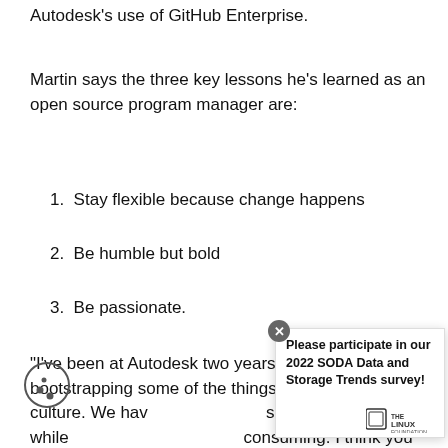Autodesk's use of GitHub Enterprise.
Martin says the three key lessons he's learned as an open source program manager are:
1. Stay flexible because change happens
2. Be humble but bold
3. Be passionate.
“I’ve been at Autodesk two years but I’m still bootstrapping some of the things around culture. We have some projects, while consuming. I think you have to do both
[Figure (other): Popup overlay with close button and Linux Foundation logo, and cookie consent icon. Text reads: Please participate in our 2022 SODA Data and Storage Trends survey!]